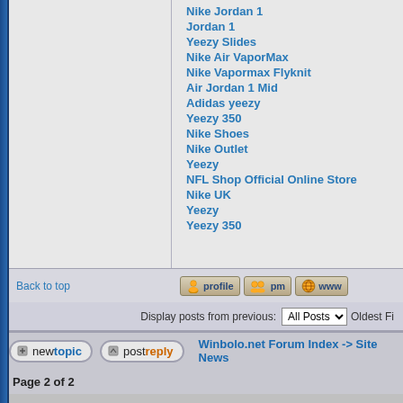Nike Jordan 1
Jordan 1
Yeezy Slides
Nike Air VaporMax
Nike Vapormax Flyknit
Air Jordan 1 Mid
Adidas yeezy
Yeezy 350
Nike Shoes
Nike Outlet
Yeezy
NFL Shop Official Online Store
Nike UK
Yeezy
Yeezy 350
Back to top
Display posts from previous: All Posts Oldest F...
newtopic  postreply   Winbolo.net Forum Index -> Site News
Page 2 of 2